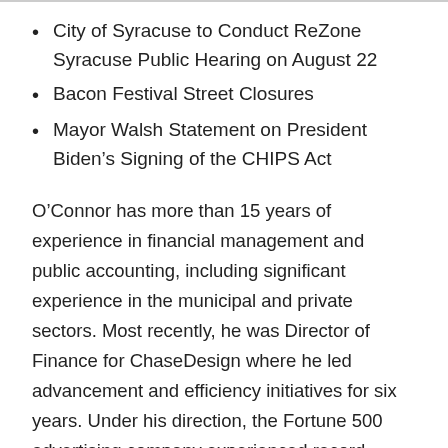City of Syracuse to Conduct ReZone Syracuse Public Hearing on August 22
Bacon Festival Street Closures
Mayor Walsh Statement on President Biden’s Signing of the CHIPS Act
O’Connor has more than 15 years of experience in financial management and public accounting, including significant experience in the municipal and private sectors. Most recently, he was Director of Finance for ChaseDesign where he led advancement and efficiency initiatives for six years. Under his direction, the Fortune 500 advertising company experienced record growth and profits.